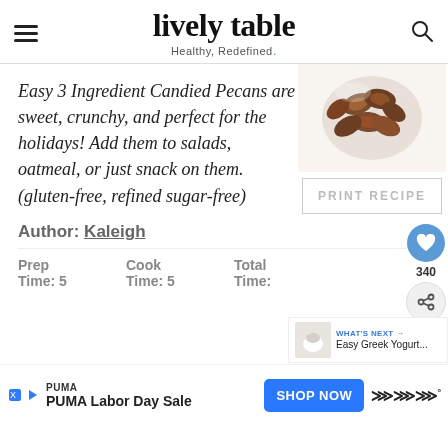lively table — Healthy, Redefined.
[Figure (photo): Bowl of candied pecans on white background]
Easy 3 Ingredient Candied Pecans are sweet, crunchy, and perfect for the holidays! Add them to salads, oatmeal, or just snack on them. (gluten-free, refined sugar-free)
PRINT RECIPE
Author: Kaleigh
Prep Time: 5  Cook Time: 5  Total Time:
[Figure (photo): What's Next: Easy Greek Yogurt...]
WHAT'S NEXT → Easy Greek Yogurt...
PUMA — PUMA Labor Day Sale — SHOP NOW